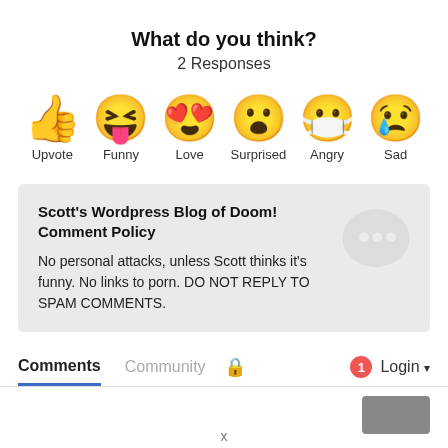What do you think?
2 Responses
[Figure (infographic): Six emoji reaction icons in a row: thumbs up (Upvote), laughing face with tongue (Funny), heart eyes face (Love), surprised face (Surprised), crying masked face (Angry), sad face with tear (Sad)]
Scott's Wordpress Blog of Doom! Comment Policy
No personal attacks, unless Scott thinks it's funny. No links to porn. DO NOT REPLY TO SPAM COMMENTS.
Comments  Community  🔒  1  Login